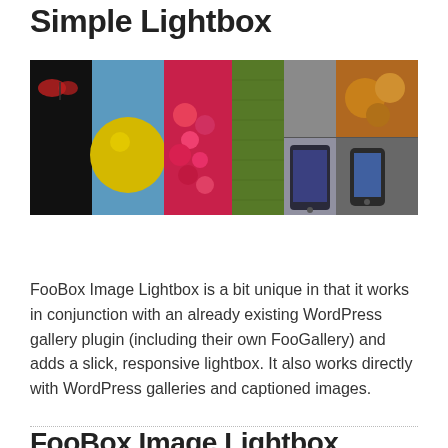Simple Lightbox
[Figure (photo): A collage banner image showing various photos including a butterfly on black background, a yellow sphere on blue, colorful fruits/berries, green textures, a gray background, a tablet device, and other colorful images arranged side by side.]
FooBox Image Lightbox is a bit unique in that it works in conjunction with an already existing WordPress gallery plugin (including their own FooGallery) and adds a slick, responsive lightbox. It also works directly with WordPress galleries and captioned images.
FooBox Image Lightbox